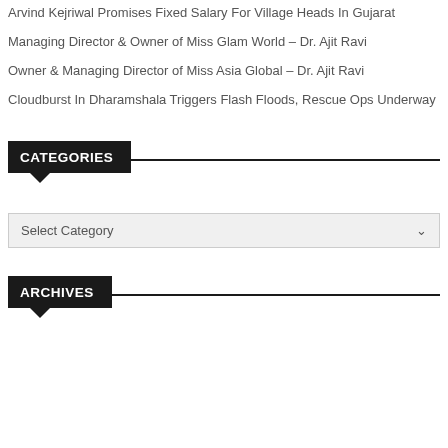Arvind Kejriwal Promises Fixed Salary For Village Heads In Gujarat
Managing Director & Owner of Miss Glam World – Dr. Ajit Ravi
Owner & Managing Director of Miss Asia Global – Dr. Ajit Ravi
Cloudburst In Dharamshala Triggers Flash Floods, Rescue Ops Underway
CATEGORIES
Select Category
ARCHIVES